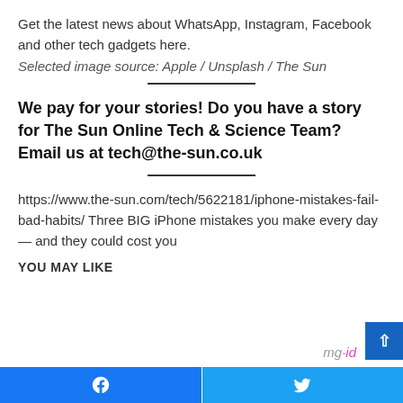Get the latest news about WhatsApp, Instagram, Facebook and other tech gadgets here.
Selected image source: Apple / Unsplash / The Sun
We pay for your stories! Do you have a story for The Sun Online Tech & Science Team? Email us at tech@the-sun.co.uk
https://www.the-sun.com/tech/5622181/iphone-mistakes-fail-bad-habits/ Three BIG iPhone mistakes you make every day — and they could cost you
YOU MAY LIKE